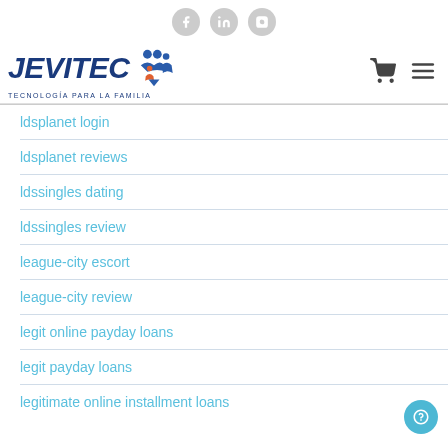[Figure (logo): Social media icons: Facebook, LinkedIn, Instagram in gray circles]
[Figure (logo): JEVITEC logo with family icon and tagline TECNOLOGÍA PARA LA FAMILIA, plus cart and menu icons]
ldsplanet login
ldsplanet reviews
ldssingles dating
ldssingles review
league-city escort
league-city review
legit online payday loans
legit payday loans
legitimate online installment loans